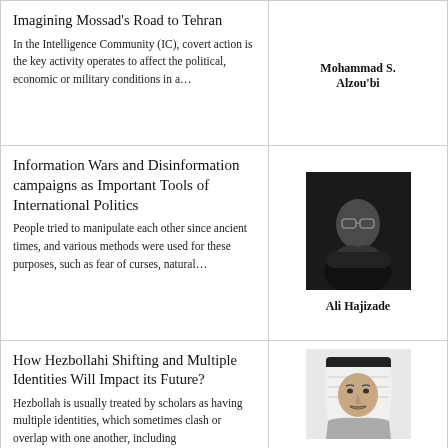Imagining Mossad’s Road to Tehran
In the Intelligence Community (IC), covert action is the key activity operates to affect the political, economic or military conditions in a…
Mohammad S. Alzou’bi
Information Wars and Disinformation campaigns as Important Tools of International Politics
People tried to manipulate each other since ancient times, and various methods were used for these purposes, such as fear of curses, natural…
[Figure (photo): Black and white portrait photo of Ali Hajizade, a man in a suit with arms crossed and glasses]
Ali Hajizade
How Hezbollahi Shifting and Multiple Identities Will Impact its Future?
Hezbollah is usually treated by scholars as having multiple identities, which sometimes clash or overlap with one another, including
[Figure (photo): Black and white portrait photo of Abdullah A., a young man wearing a traditional Arab headdress]
Abdullah A.